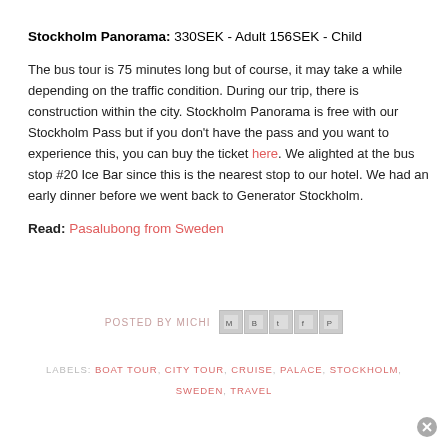Stockholm Panorama: 330SEK - Adult 156SEK - Child
The bus tour is 75 minutes long but of course, it may take a while depending on the traffic condition. During our trip, there is construction within the city. Stockholm Panorama is free with our Stockholm Pass but if you don't have the pass and you want to experience this, you can buy the ticket here. We alighted at the bus stop #20 Ice Bar since this is the nearest stop to our hotel. We had an early dinner before we went back to Generator Stockholm.
Read: Pasalubong from Sweden
POSTED BY MICHI
LABELS: BOAT TOUR, CITY TOUR, CRUISE, PALACE, STOCKHOLM, SWEDEN, TRAVEL